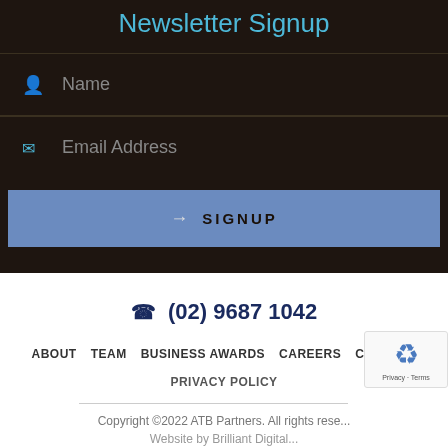Newsletter Signup
Name
Email Address
→ SIGNUP
(02) 9687 1042
ABOUT
TEAM
BUSINESS AWARDS
CAREERS
CONTACT
PRIVACY POLICY
Copyright ©2022 ATB Partners. All rights reserved. Website by Brilliant Digital.